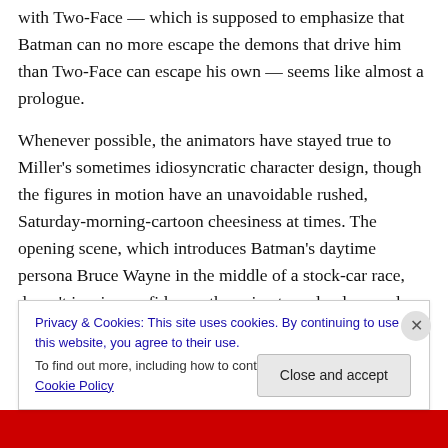with Two-Face — which is supposed to emphasize that Batman can no more escape the demons that drive him than Two-Face can escape his own — seems like almost a prologue.
Whenever possible, the animators have stayed true to Miller's sometimes idiosyncratic character design, though the figures in motion have an unavoidable rushed, Saturday-morning-cartoon cheesiness at times. The opening scene, which introduces Batman's daytime persona Bruce Wayne in the middle of a stock-car race, doesn't inspire confidence; the animators clearly saved
Privacy & Cookies: This site uses cookies. By continuing to use this website, you agree to their use.
To find out more, including how to control cookies, see here: Cookie Policy